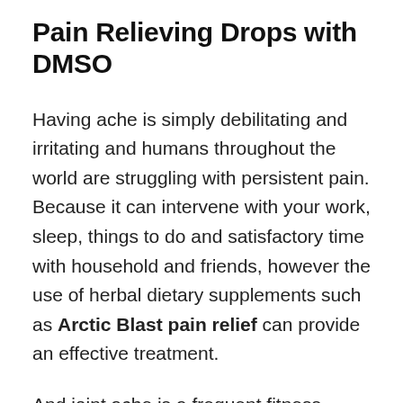Pain Relieving Drops with DMSO
Having ache is simply debilitating and irritating and humans throughout the world are struggling with persistent pain. Because it can intervene with your work, sleep, things to do and satisfactory time with household and friends, however the use of herbal dietary supplements such as Arctic Blast pain relief can provide an effective treatment.
And joint ache is a frequent fitness situation that impacts extra than 22% of